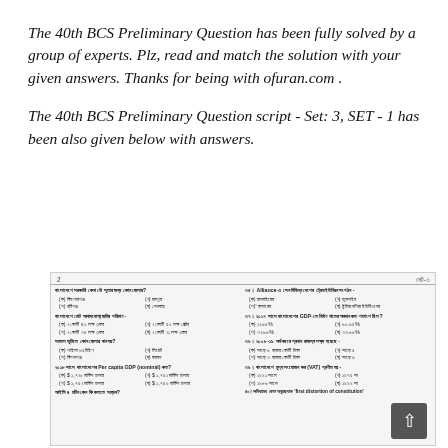The 40th BCS Preliminary Question has been fully solved by a group of experts. Plz, read and match the solution with your given answers. Thanks for being with ofuran.com .
The 40th BCS Preliminary Question script - Set: 3, SET - 1 has been also given below with answers.
[Figure (photo): Scanned image of 40th BCS Preliminary Question paper showing Bengali text questions with multiple choice options in two columns, with a scroll-up arrow button overlay]